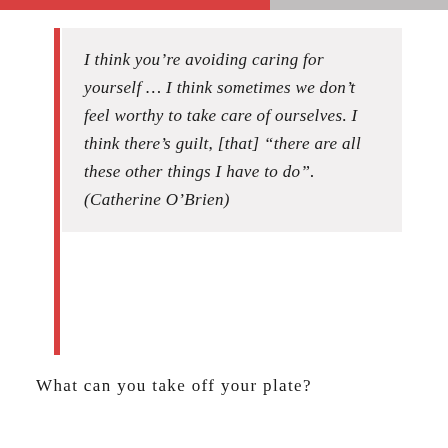I think you’re avoiding caring for yourself … I think sometimes we don’t feel worthy to take care of ourselves. I think there’s guilt, [that] “there are all these other things I have to do”. (Catherine O’Brien)
What can you take off your plate?